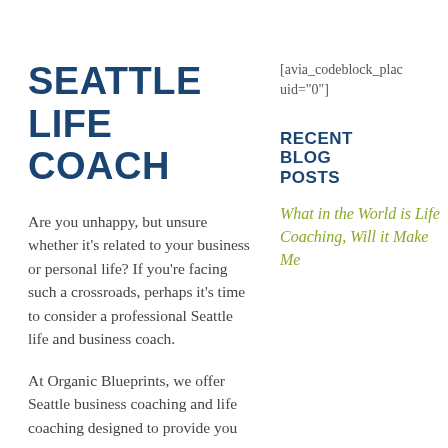SEATTLE LIFE COACH
Are you unhappy, but unsure whether it’s related to your business or personal life? If you’re facing such a crossroads, perhaps it’s time to consider a professional Seattle life and business coach.
At Organic Blueprints, we offer Seattle business coaching and life coaching designed to provide you
[avia_codeblock_placeholder uid="0"]
RECENT BLOG POSTS
What in the World is Life Coaching, Will it Make Me